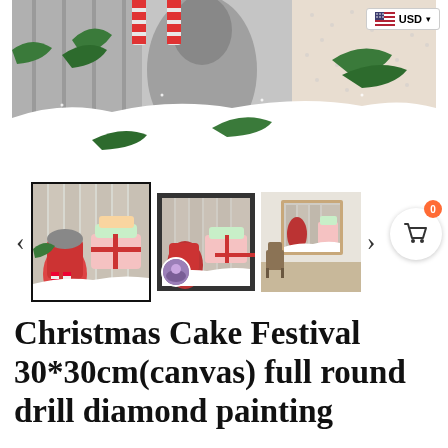[Figure (illustration): Christmas scene showing a gnome/elf character in gray cloak with red and white striped stockings hanging, snow on the ground, pine branches, and a patterned background with snowflakes]
[Figure (photo): Thumbnail images of Christmas cake-themed diamond painting artwork showing gnomes with Christmas cakes in a framed print. Three thumbnails shown: first selected with black border, second with partial view, third showing framed print on wall.]
Christmas Cake Festival 30*30cm(canvas) full round drill diamond painting